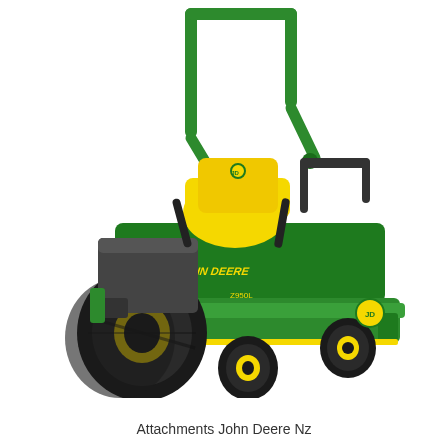[Figure (photo): A John Deere zero-turn riding lawn mower with green and yellow color scheme, featuring a yellow seat, green ROPS (roll-over protection structure), large rear tires with yellow rims, front caster wheels, and a wide green mowing deck. The mower is shown on a white background in a three-quarter front view.]
Attachments John Deere Nz